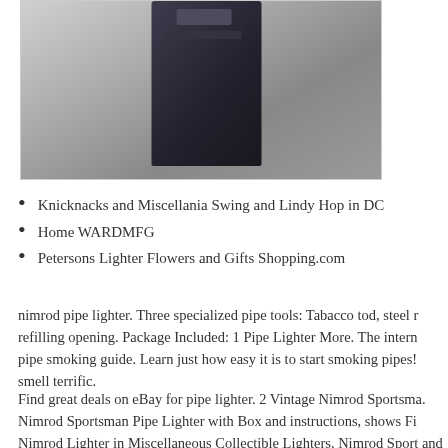[Figure (photo): A dark colored pipe lighter or similar device photographed against a gray/concrete background]
Knicknacks and Miscellania Swing and Lindy Hop in DC
Home WARDMFG
Petersons Lighter Flowers and Gifts Shopping.com
nimrod pipe lighter. Three specialized pipe tools: Tabacco tod, steel r refilling opening. Package Included: 1 Pipe Lighter More. The intern pipe smoking guide. Learn just how easy it is to start smoking pipes! smell terrific.
Find great deals on eBay for pipe lighter. 2 Vintage Nimrod Sportsma. Nimrod Sportsman Pipe Lighter with Box and instructions, shows Fi Nimrod Lighter in Miscellaneous Collectible Lighters. Nimrod Sport and instructions, shows light use.
eLighters carries a huge selection of pipe, cigarette and cigar lighters